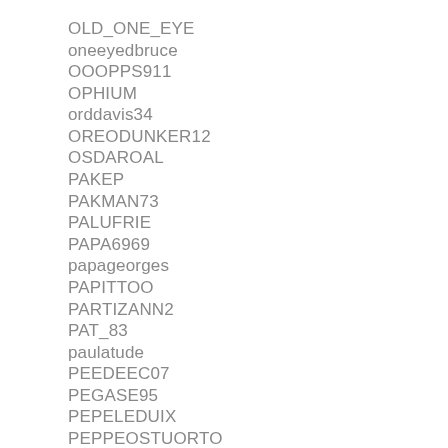OLD_ONE_EYE
oneeyedbruce
OOOPPS911
OPHIUM
orddavis34
OREODUNKER12
OSDAROAL
PAKEP
PAKMAN73
PALUFRIE
PAPA6969
papageorges
PAPITTOO
PARTIZANN2
PAT_83
paulatude
PEEDEEC07
PEGASE95
PEPELEDUIX
PEPPEOSTUORTO
PERKSY86